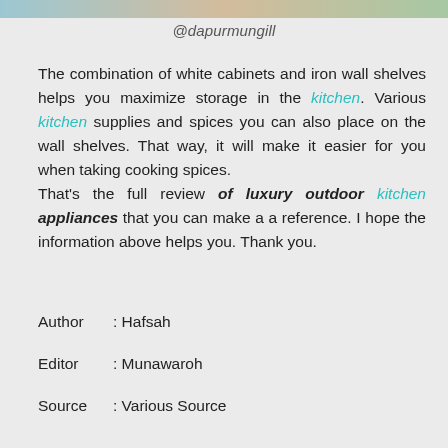[Figure (photo): Partial image strip at the top of the page showing a kitchen scene]
@dapurmungill
The combination of white cabinets and iron wall shelves helps you maximize storage in the kitchen. Various kitchen supplies and spices you can also place on the wall shelves. That way, it will make it easier for you when taking cooking spices.
That's the full review of luxury outdoor kitchen appliances that you can make a a reference. I hope the information above helps you. Thank you.
Author    : Hafsah
Editor      : Munawaroh
Source   : Various Source